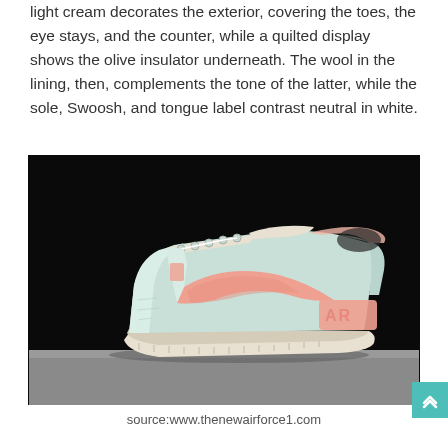light cream decorates the exterior, covering the toes, the eye stays, and the counter, while a quilted display shows the olive insulator underneath. The wool in the lining, then, complements the tone of the latter, while the sole, Swoosh, and tongue label contrast neutral in white.
[Figure (photo): Nike Air Force 1 Shadow sneaker in light mint/cream with peach Swoosh and AR branding on heel, photographed against black background on grey surface]
source:www.thenewairforce1.com